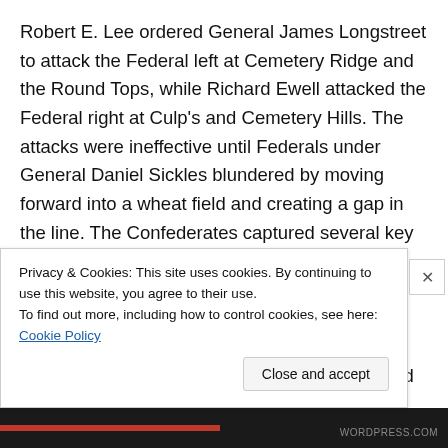Robert E. Lee ordered General James Longstreet to attack the Federal left at Cemetery Ridge and the Round Tops, while Richard Ewell attacked the Federal right at Culp's and Cemetery Hills. The attacks were ineffective until Federals under General Daniel Sickles blundered by moving forward into a wheat field and creating a gap in the line. The Confederates captured several key points but were repulsed at Little Round Top by Colonel Joshua L. Chamberlain's 20th Maine. The second day of fighting ended in brutal stalemate. That night, George G. Meade conferred with subordinates and decided to hold his
Privacy & Cookies: This site uses cookies. By continuing to use this website, you agree to their use.
To find out more, including how to control cookies, see here: Cookie Policy
Close and accept